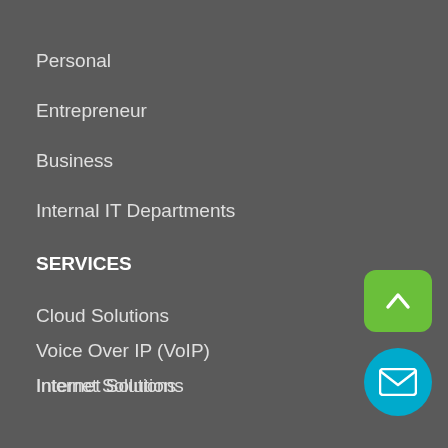Personal
Entrepreneur
Business
Internal IT Departments
SERVICES
Cloud Solutions
Voice Over IP (VoIP)
Internet Solutions
Backup Solutions
Web Hosting
Web Design
Consulting
[Figure (illustration): Green rounded square button with white upward chevron arrow]
[Figure (illustration): Blue circular button with white envelope/mail icon]